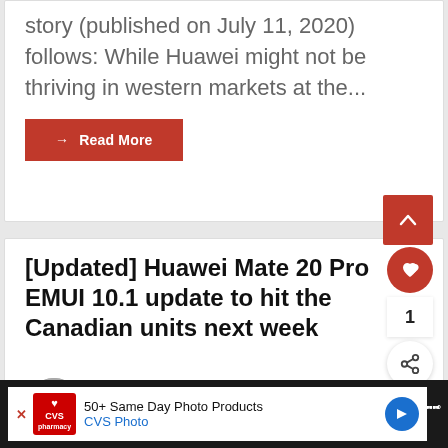story (published on July 11, 2020) follows: While Huawei might not be thriving in western markets at the...
→ Read More
[Updated] Huawei Mate 20 Pro EMUI 10.1 update to hit the Canadian units next week
clinton_moraka  Aug 08, 2020
50+ Same Day Photo Products CVS Photo